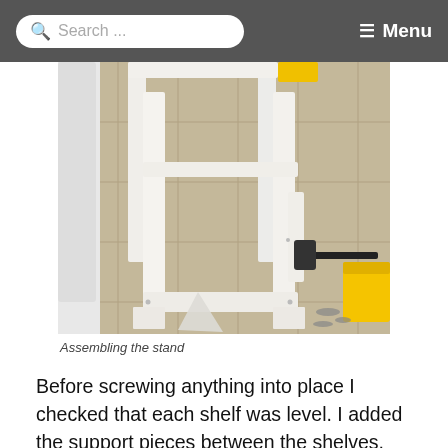Search ...  Menu
[Figure (photo): A white wooden stand being assembled on a tiled floor. Clamps are holding the pieces together. A yellow DeWalt tool box is visible on the right. A white appliance is on the left.]
Assembling the stand
Before screwing anything into place I checked that each shelf was level. I added the support pieces between the shelves, building up from the floor so that...